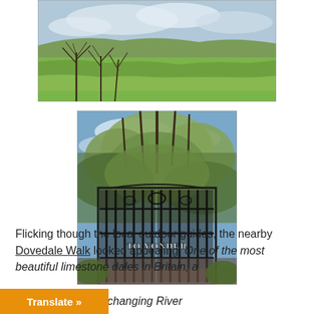[Figure (photo): Panoramic landscape photo showing green fields, bare trees in foreground, and rolling hills under a cloudy sky.]
[Figure (photo): Photo of ornate wrought iron gates with trees and blue sky behind, with text 'TO YONDER' overlaid at the bottom center.]
Flicking though the local outdoor guides, the nearby Dovedale Walk looked appealing: One of the most beautiful limestone dales in Britain, a [...]nery with the ever-changing River
[Figure (other): Orange 'Translate »' button overlay at bottom left]